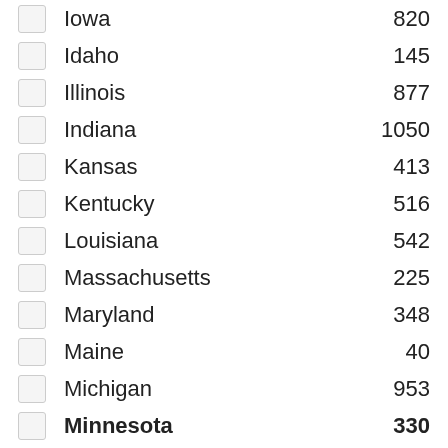Iowa 820
Idaho 145
Illinois 877
Indiana 1050
Kansas 413
Kentucky 516
Louisiana 542
Massachusetts 225
Maryland 348
Maine 40
Michigan 953
Minnesota 330